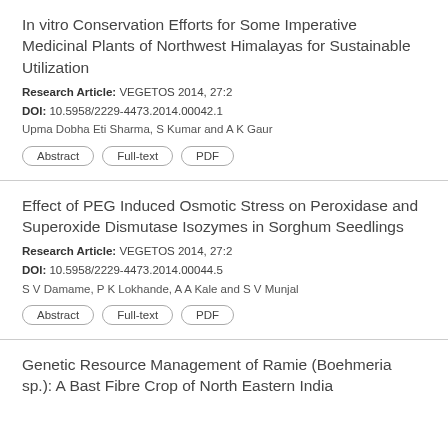In vitro Conservation Efforts for Some Imperative Medicinal Plants of Northwest Himalayas for Sustainable Utilization
Research Article: VEGETOS 2014, 27:2
DOI: 10.5958/2229-4473.2014.00042.1
Upma Dobha Eti Sharma, S Kumar and A K Gaur
Abstract | Full-text | PDF
Effect of PEG Induced Osmotic Stress on Peroxidase and Superoxide Dismutase Isozymes in Sorghum Seedlings
Research Article: VEGETOS 2014, 27:2
DOI: 10.5958/2229-4473.2014.00044.5
S V Damame, P K Lokhande, A A Kale and S V Munjal
Abstract | Full-text | PDF
Genetic Resource Management of Ramie (Boehmeria sp.): A Bast Fibre Crop of North Eastern India